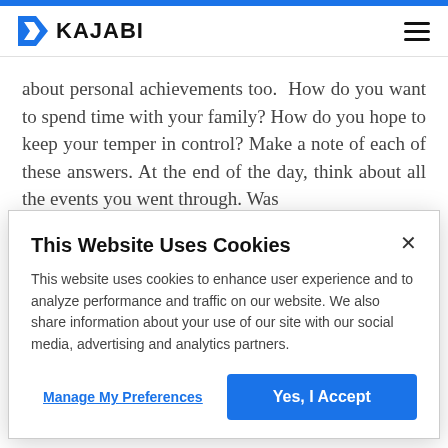KAJABI
about personal achievements too.  How do you want to spend time with your family? How do you hope to keep your temper in control? Make a note of each of these answers. At the end of the day, think about all the events you went through. Was
This Website Uses Cookies
This website uses cookies to enhance user experience and to analyze performance and traffic on our website. We also share information about your use of our site with our social media, advertising and analytics partners.
Manage My Preferences
Yes, I Accept